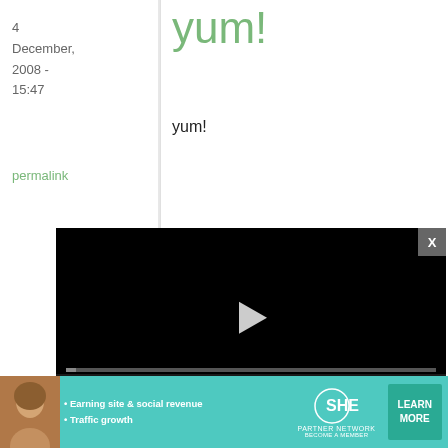4 December, 2008 - 15:47
permalink
yum!
yum!
Skadi
4 December, 2008 - 15:50
permalink
great
[Figure (screenshot): Video player overlay showing a black video player with play button, progress bar at 0, time display 13:52, CC button, grid button, settings gear, and fullscreen button. A close X button appears in the upper right corner.]
next 5 years ...
[Figure (infographic): SHE Media Partner Network advertisement banner with teal background. Shows a woman's photo, bullet points 'Earning site & social revenue' and 'Traffic growth', SHE Media logo, and a 'LEARN MORE / BECOME A MEMBER' button.]